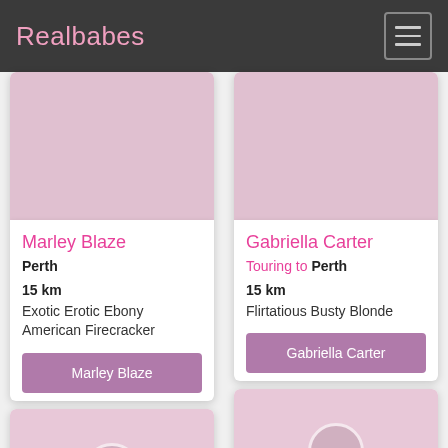Realbabes
[Figure (other): Pink image placeholder for Marley Blaze profile photo]
Marley Blaze
Perth
15 km
Exotic Erotic Ebony American Firecracker
Marley Blaze
[Figure (other): Pink image placeholder for Gabriella Carter profile photo]
Gabriella Carter
Touring to Perth
15 km
Flirtatious Busty Blonde
Gabriella Carter
[Figure (other): Pink image placeholder for third profile (bottom left)]
[Figure (other): Pink image placeholder for fourth profile (bottom right)]